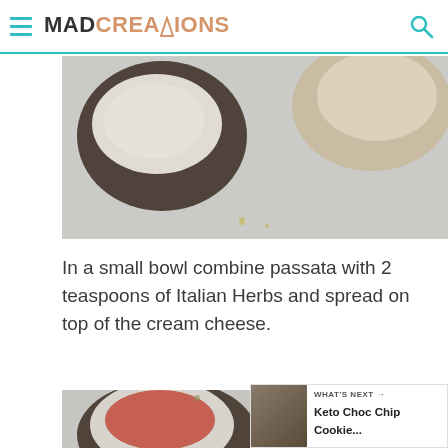MAD CREATIONS
[Figure (photo): Top-down view of portobello mushrooms with cream cheese spread on baking paper]
In a small bowl combine passata with 2 teaspoons of Italian Herbs and spread on top of the cream cheese.
[Figure (photo): Top-down view of portobello mushrooms with cream cheese and red passata sauce on baking paper]